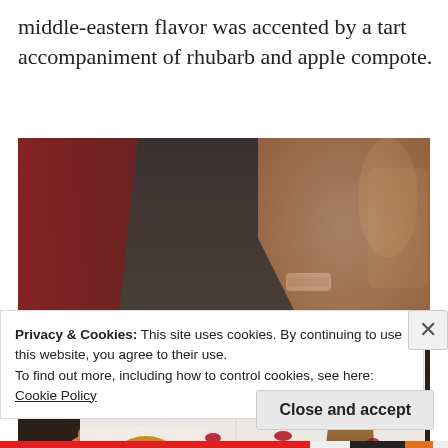middle-eastern flavor was accented by a tart accompaniment of rhubarb and apple compote.
[Figure (photo): A person holding a white rectangular plate with two plated desserts: white panna cotta on biscuit bases, with golden crumble, cream, ruby red sauce drops, and garnished with mint leaves. Warm food photography setting.]
Privacy & Cookies: This site uses cookies. By continuing to use this website, you agree to their use.
To find out more, including how to control cookies, see here: Cookie Policy
Close and accept